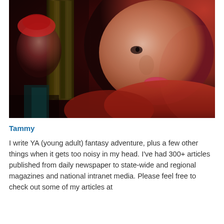[Figure (photo): A woman with long red hair photographed close-up, with a doll wearing a red hat visible in the background along with book spines]
Tammy
I write YA (young adult) fantasy adventure, plus a few other things when it gets too noisy in my head. I've had 300+ articles published from daily newspaper to state-wide and regional magazines and national intranet media. Please feel free to check out some of my articles at